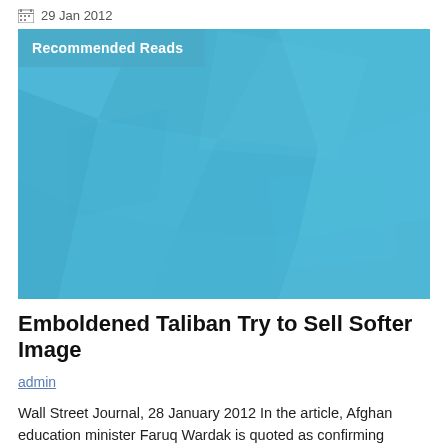29 Jan 2012
[Figure (illustration): Light blue geometric/polygon background image with a 'Recommended Reads' badge overlay in the top-left corner]
Emboldened Taliban Try to Sell Softer Image
admin
Wall Street Journal, 28 January 2012 In the article, Afghan education minister Faruq Wardak is quoted as confirming